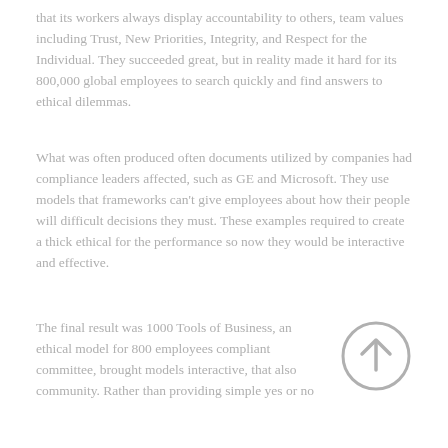that its workers always display accountability to others, team values including Trust, New Priorities, Integrity, and Respect for the Individual. They succeeded great, but in reality made it hard for its 800,000 global employees to search quickly and find answers to ethical dilemmas.
What was often produced often documents utilized by companies had compliance leaders affected, such as GE and Microsoft. They use models that frameworks can't give employees about how their people will difficult decisions they must. These examples required to create a thick ethical for the performance so now they would be interactive and effective.
The final result was 1000 Tools of Business, an ethical model for 800 employees compliant committee, brought models interactive, that also community. Rather than providing simple yes or no